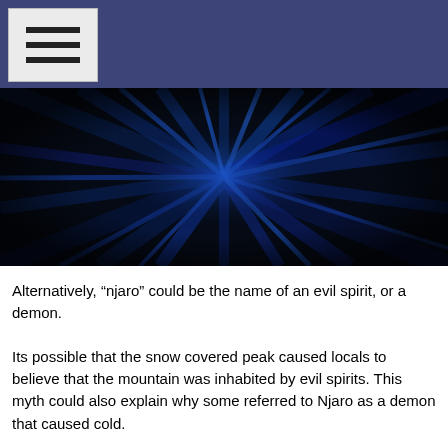[Figure (photo): Dark abstract radial burst pattern in blue and black tones, resembling a tunnel or vortex of light rays emanating from the center.]
Alternatively, “njaro” could be the name of an evil spirit, or a demon.
Its possible that the snow covered peak caused locals to believe that the mountain was inhabited by evil spirits. This myth could also explain why some referred to Njaro as a demon that caused cold.
Hans Meyer, the first European to climb Kilimanjaro wrot
Njaro, the guardian spirit of the mountain, seemed to take his conquest with a good grace, for neither snow nor tempest marred our triumphal invasion of